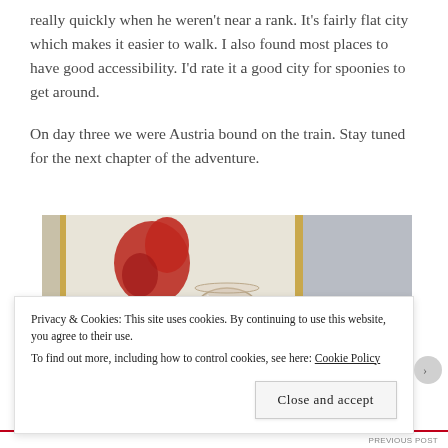really quickly when he weren't near a rank. It's fairly flat city which makes it easier to walk. I also found most places to have good accessibility. I'd rate it a good city for spoonies to get around.
On day three we were Austria bound on the train. Stay tuned for the next chapter of the adventure.
[Figure (photo): A photograph showing a painting or artwork of a red wine glass with a red figure/splash, displayed in gold frames on a wall, partially visible.]
Privacy & Cookies: This site uses cookies. By continuing to use this website, you agree to their use.
To find out more, including how to control cookies, see here: Cookie Policy
Close and accept